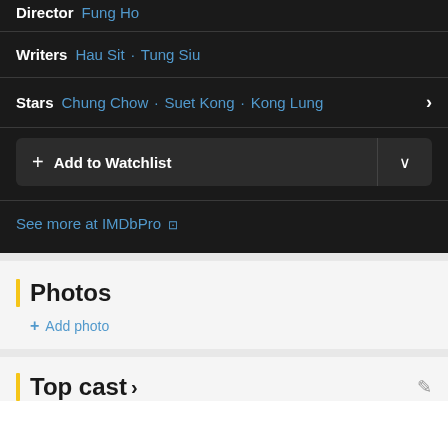Director: Fung Ho
Writers: Hau Sit · Tung Siu
Stars: Chung Chow · Suet Kong · Kong Lung
+ Add to Watchlist
See more at IMDbPro
Photos
+ Add photo
Top cast >